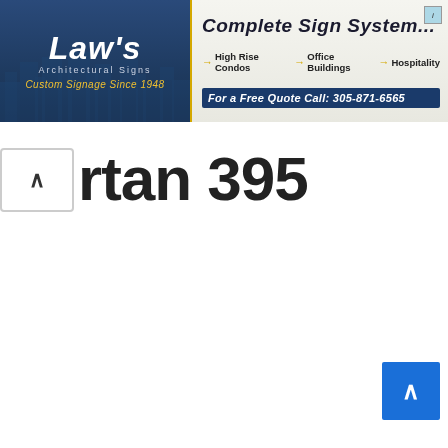[Figure (screenshot): Banner advertisement split into two sections. Left: Law's Architectural Signs logo on dark navy blue background with city skyline silhouette, text reads Law's Architectural Signs Custom Signage Since 1948. Right: Complete Sign System ad on light beige background, listing High Rise Condos, Office Buildings, Hospitality, with phone number For a Free Quote Call: 305-871-6565.]
rtan 395
[Figure (screenshot): Small blue scroll-to-top button with upward chevron arrow in bottom right corner.]